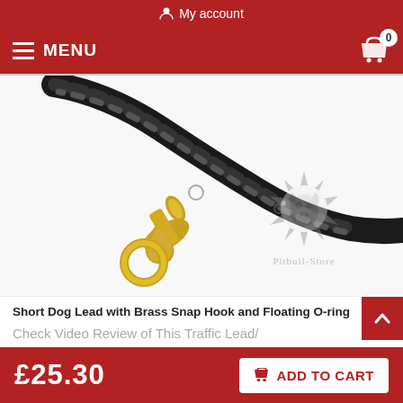My account
MENU
[Figure (photo): Close-up photo of a black braided leather dog lead with a gold/brass snap hook and floating O-ring hardware, with Pitbull-Store watermark logo in the lower right corner]
Short Dog Lead with Brass Snap Hook and Floating O-ring
Check Video Review of This Traffic Lead/
£25.30
ADD TO CART